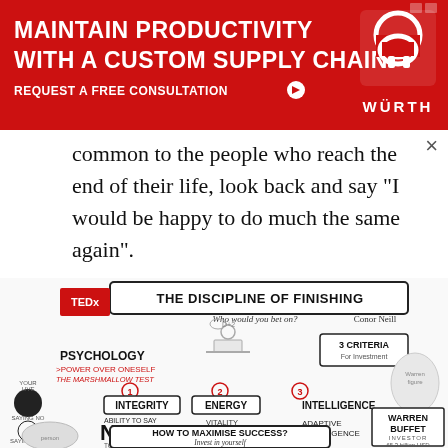[Figure (infographic): Wurth advertisement banner - red background with text MAINTAIN PRODUCTIVITY WITH A CUSTOM SUPPLY CHAIN, REQUEST A FREE CONSULTATION, and Wurth logo]
common to the people who reach the end of their life, look back and say “I would be happy to do much the same again”.
[Figure (infographic): Sketchnote infographic titled THE DISCIPLINE OF FINISHING by Conor Neill (TEDx). Shows concepts: Psychology, Power Over Oneself, The Marshmallow Test, 3 Criteria For Investment (1-Integrity, 2-Energy, 3-Intelligence), Ability to Say NO! to most things, Vitality + Action, Adaptive Intelligence, Warren Buffet Investor 65.3 billion USD, How To Maximise Success? Invest in yourself]